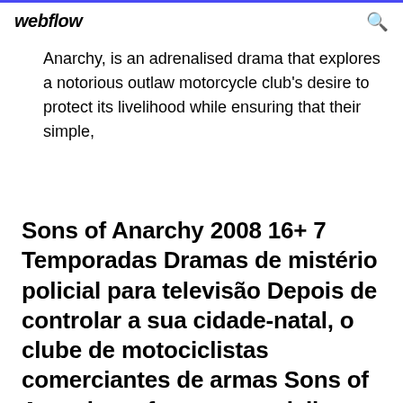webflow
Anarchy, is an adrenalised drama that explores a notorious outlaw motorcycle club's desire to protect its livelihood while ensuring that their simple,
Sons of Anarchy 2008 16+ 7 Temporadas Dramas de mistério policial para televisão Depois de controlar a sua cidade-natal, o clube de motociclistas comerciantes de armas Sons of Anarchy enfrenta motociclistas